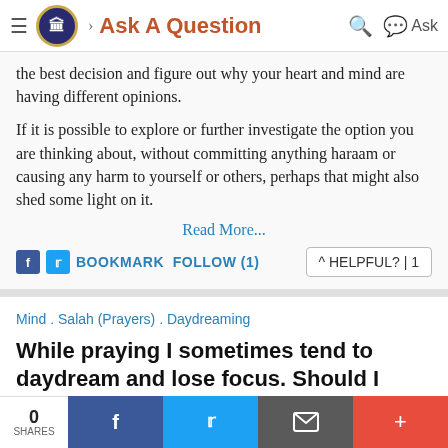Ask A Question
the best decision and figure out why your heart and mind are having different opinions.
If it is possible to explore or further investigate the option you are thinking about, without committing anything haraam or causing any harm to yourself or others, perhaps that might also shed some light on it.
Read More...
BOOKMARK FOLLOW (1)
^ HELPFUL? | 1
Mind . Salah (Prayers) . Daydreaming
While praying I sometimes tend to daydream and lose focus. Should I restart my prayer whenever I realise that my mind h...
0 SHARES